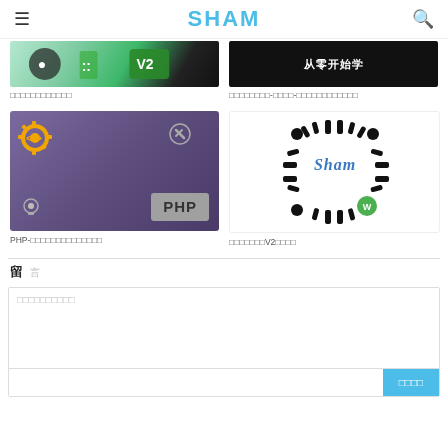SHAM
[Figure (screenshot): Partial thumbnail of a tech/app related image with green and dark colors]
□□□□□□□□□□□□
[Figure (screenshot): Black background image with Chinese text reading 从零开始学]
□□□□□□□□-□□□□-□□□□□□□□□□□□
[Figure (photo): PHP programming concept image showing a laptop with PHP text and gear icons on purple background]
PHP-□□□□□□□□□□□□□□
[Figure (photo): QR code with Sham branding in old English font and WeChat icon]
□□□□□□□V2□□□□
留 言
□□□□□□□□□□
提交留言